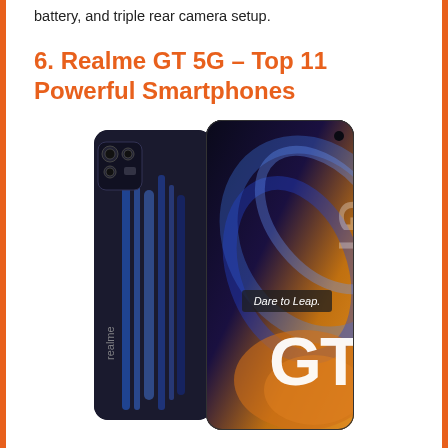battery, and triple rear camera setup.
6. Realme GT 5G – Top 11 Powerful Smartphones
[Figure (photo): Realme GT 5G smartphone shown from the back and front, featuring a blue streaked back panel with triple camera and a dynamic swirling wallpaper on the front screen with 'Dare to Leap.' text and GT branding]